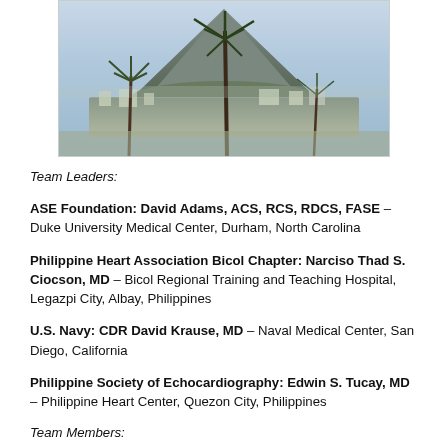[Figure (photo): Landscape photo of a volcano (likely Mayon Volcano) with palm trees and a town in the foreground, blue sky above.]
Team Leaders:
ASE Foundation: David Adams, ACS, RCS, RDCS, FASE – Duke University Medical Center, Durham, North Carolina
Philippine Heart Association Bicol Chapter: Narciso Thad S. Ciocson, MD – Bicol Regional Training and Teaching Hospital, Legazpi City, Albay, Philippines
U.S. Navy: CDR David Krause, MD – Naval Medical Center, San Diego, California
Philippine Society of Echocardiography: Edwin S. Tucay, MD – Philippine Heart Center, Quezon City, Philippines
Team Members:
Abigail Jean M. Alaan – PSE Secretariat, Quezon City, Philippines
Charity Belmes, RN, RCS – The Medical City, Cainta, Rizal, Philippines